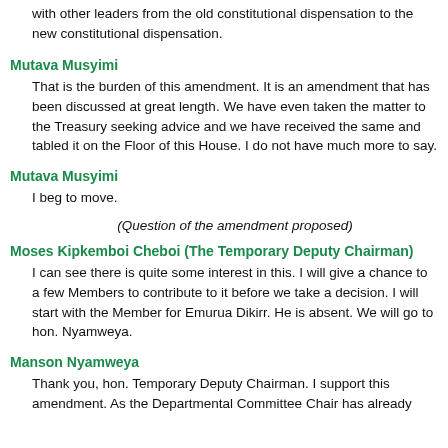with other leaders from the old constitutional dispensation to the new constitutional dispensation.
Mutava Musyimi
That is the burden of this amendment. It is an amendment that has been discussed at great length. We have even taken the matter to the Treasury seeking advice and we have received the same and tabled it on the Floor of this House. I do not have much more to say.
Mutava Musyimi
I beg to move.
(Question of the amendment proposed)
Moses Kipkemboi Cheboi (The Temporary Deputy Chairman)
I can see there is quite some interest in this. I will give a chance to a few Members to contribute to it before we take a decision. I will start with the Member for Emurua Dikirr. He is absent. We will go to hon. Nyamweya.
Manson Nyamweya
Thank you, hon. Temporary Deputy Chairman. I support this amendment. As the Departmental Committee Chair has already